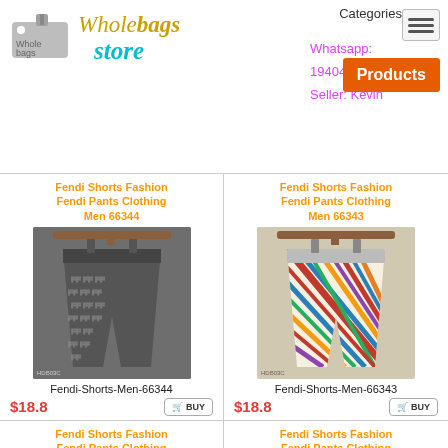[Figure (logo): Wholebags Store logo with luggage tag graphic]
Whatsapp:
19404898734
Seller: Kevin
Categories
Products
Fendi Shorts Fashion Fendi Pants Clothing Men 66344
[Figure (photo): Fendi shorts with all-over monogram print, grey/dark pattern, on hanger]
Fendi-Shorts-Men-66344
$18.8
BUY
Fendi Shorts Fashion Fendi Pants Clothing Men 66343
[Figure (photo): Fendi shorts with colorful geometric/stripe pattern, on hanger]
Fendi-Shorts-Men-66343
$18.8
BUY
Fendi Shorts Fashion Fendi Pants Clothing Men 66342
Fendi Shorts Fashion Fendi Pants Clothing Men 66341